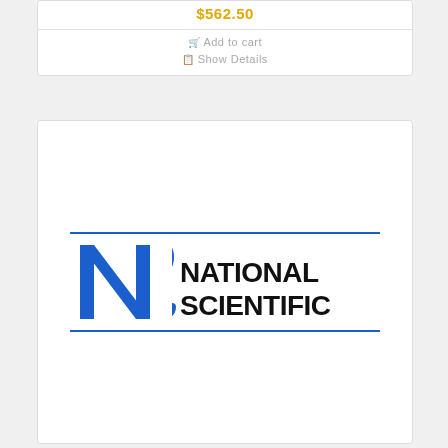$562.50
Add to cart
Show Details
[Figure (logo): National Scientific company logo — blue 'NS' lettermark on left with 'NATIONAL SCIENTIFIC' text in black on right, framed by thin blue horizontal lines top and bottom]